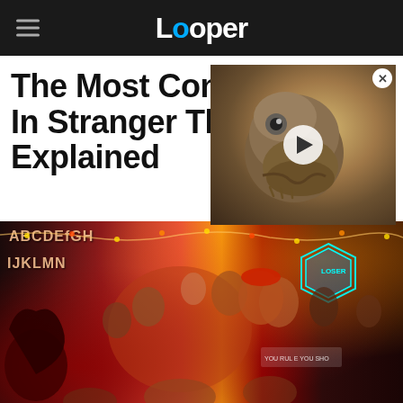Looper
The Most Confus[ing Moments] In Stranger Things Explained
[Figure (screenshot): Video thumbnail showing a dinosaur/raptor head with a play button overlay, partially covering the article title]
[Figure (photo): Promotional artwork for Stranger Things showing multiple characters from the show including children and adults, with alphabet letters visible in the background, against a red/orange dramatic background]